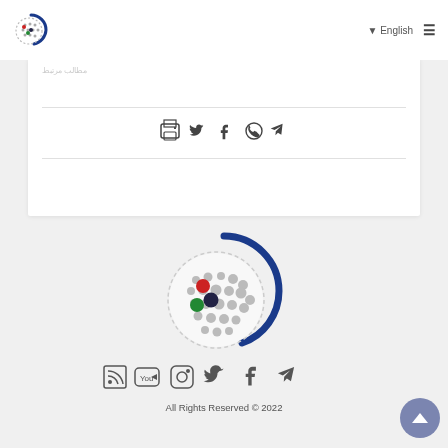English
[Figure (logo): Small globe logo with blue arc and colored dots, top-left of header]
All Rights Reserved © 2022
[Figure (logo): Large globe logo with blue arc and colored dots (red, black, green) in center of page footer section]
All Rights Reserved © 2022